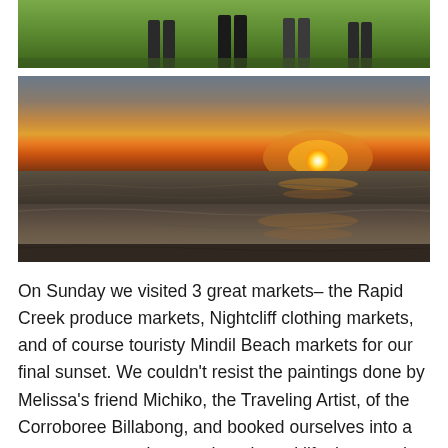[Figure (photo): People standing on grass, partial view from knees down, outdoors in daylight]
[Figure (photo): Sunset over a beach with wet sand reflecting the orange and yellow sky, calm water waves in foreground]
On Sunday we visited 3 great markets– the Rapid Creek produce markets, Nightcliff clothing markets, and of course touristy Mindil Beach markets for our final sunset. We couldn't resist the paintings done by Melissa's friend Michiko, the Traveling Artist, of the Corroboree Billabong, and booked ourselves into a tour so we can also see them in real life the next day